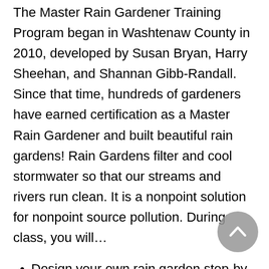The Master Rain Gardener Training Program began in Washtenaw County in 2010, developed by Susan Bryan, Harry Sheehan, and Shannan Gibb-Randall. Since that time, hundreds of gardeners have earned certification as a Master Rain Gardener and built beautiful rain gardens! Rain Gardens filter and cool stormwater so that our streams and rivers run clean. It is a nonpoint solution for nonpoint source pollution. During class, you will…
Design your own rain garden step-by-step
Receive friendly encouragement each step of the way from course instructors, past graduates, and fellow students